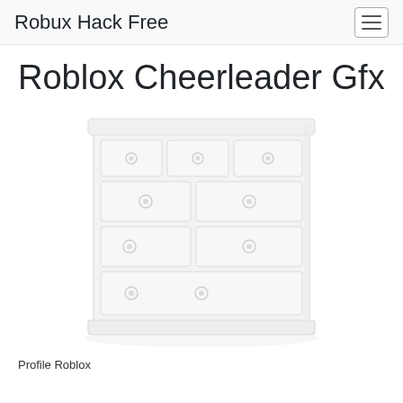Robux Hack Free
Roblox Cheerleader Gfx
[Figure (illustration): A white dresser/chest of drawers rendered in a light, faded style. The dresser has multiple rows of drawers with circular knobs. Top row has three small drawers side by side, second row has two larger drawers, third row has two drawers, fourth row has one wide drawer, and bottom row has one wide drawer. The overall color is white/off-white on a white background giving a subtle, washed-out appearance.]
Profile Roblox